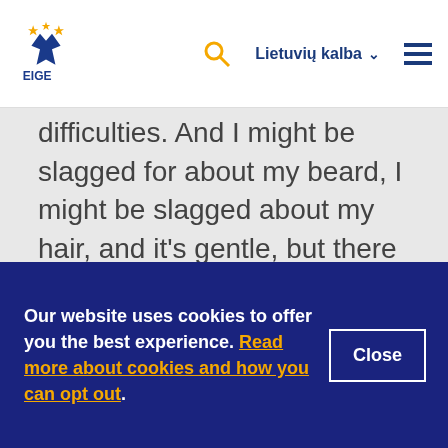EIGE — Lietuvių kalba
difficulties. And I might be slagged for about my beard, I might be slagged about my hair, and it's gentle, but there is always a potentially hurtful thing in there. So, we then write a set of rules which are about. And I describe that as building community and creating community and belonging. And I do this work with big groups with 60 to 70 men and, you know, by being quite explicit, you can create safety in that kind
Our website uses cookies to offer you the best experience. Read more about cookies and how you can opt out.